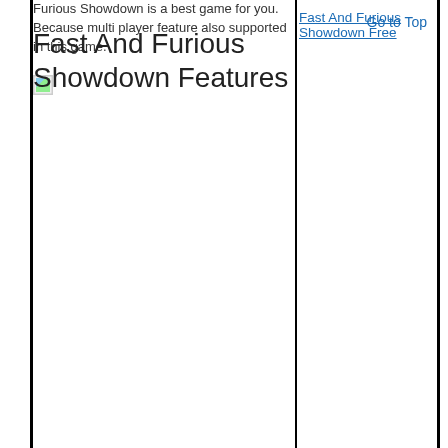Furious Showdown is a best game for you. Because multi player feature also supported in this game.
[Figure (illustration): Broken image placeholder icon (small image with blue sky and green ground)]
Fast And Furious Showdown Free
Fast And Furious Showdown Features
Go to Top